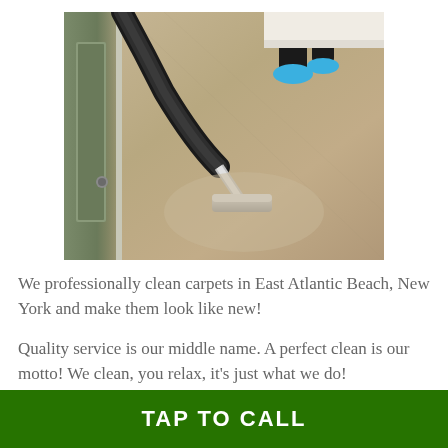[Figure (photo): A carpet cleaning professional using a vacuum/steam cleaner wand on a tan/beige carpet. The person's legs are visible at the top, wearing blue shoe covers. A door frame is visible on the left side of the image.]
We professionally clean carpets in East Atlantic Beach, New York and make them look like new!
Quality service is our middle name. A perfect clean is our motto! We clean, you relax, it's just what we do!
TAP TO CALL